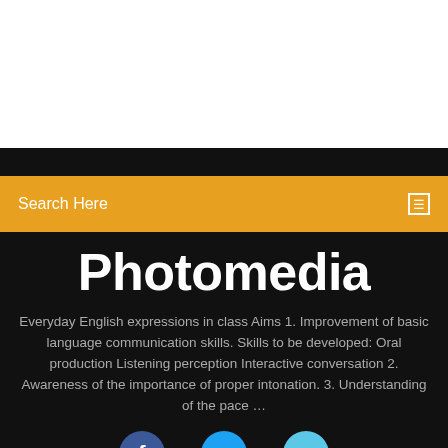[Figure (screenshot): White area at top of page, representing cropped website header]
Search Here
Photomedia
Everyday English expressions in class Aims 1. Improvement of basic language communication skills. Skills to be developed: Oral production Listening perception Interactive conversation 2. Awareness of the importance of proper intonation. 3. Understanding of the pace …
[Figure (other): Social media icons row: Facebook, Twitter, Instagram]